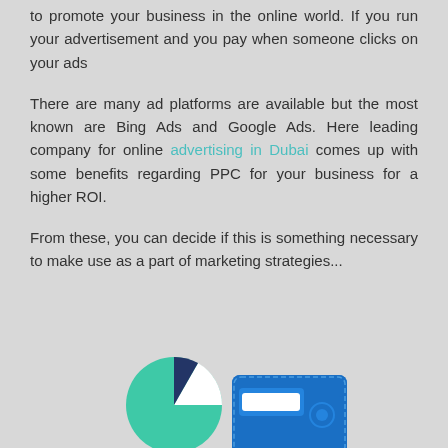to promote your business in the online world. If you run your advertisement and you pay when someone clicks on your ads
There are many ad platforms are available but the most known are Bing Ads and Google Ads. Here leading company for online advertising in Dubai comes up with some benefits regarding PPC for your business for a higher ROI.
From these, you can decide if this is something necessary to make use as a part of marketing strategies...
[Figure (infographic): Infographic illustration showing a pie chart icon (teal/green with a small dark navy slice) and a blue wallet icon with a white card, representing business/marketing concepts.]